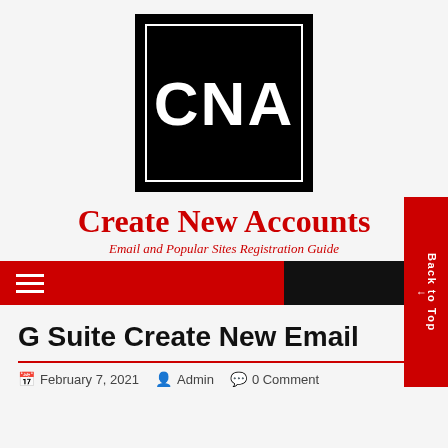[Figure (logo): CNA logo - black square with white CNA text and white inner border]
Create New Accounts
Email and Popular Sites Registration Guide
Navigation bar with hamburger menu, black section, and Back to Top button
G Suite Create New Email
February 7, 2021  Admin  0 Comment